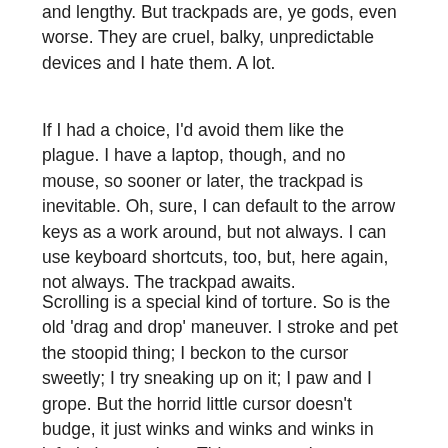and lengthy. But trackpads are, ye gods, even worse. They are cruel, balky, unpredictable devices and I hate them. A lot.
If I had a choice, I'd avoid them like the plague. I have a laptop, though, and no mouse, so sooner or later, the trackpad is inevitable. Oh, sure, I can default to the arrow keys as a work around, but not always. I can use keyboard shortcuts, too, but, here again, not always. The trackpad awaits.
Scrolling is a special kind of torture. So is the old 'drag and drop' maneuver. I stroke and pet the stoopid thing; I beckon to the cursor sweetly; I try sneaking up on it; I paw and I grope. But the horrid little cursor doesn't budge, it just winks and winks and winks in infuriating mockery. Things turn ugly at